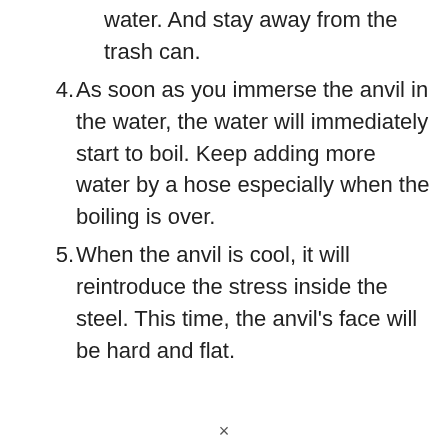water. And stay away from the trash can.
4. As soon as you immerse the anvil in the water, the water will immediately start to boil. Keep adding more water by a hose especially when the boiling is over.
5. When the anvil is cool, it will reintroduce the stress inside the steel. This time, the anvil’s face will be hard and flat.